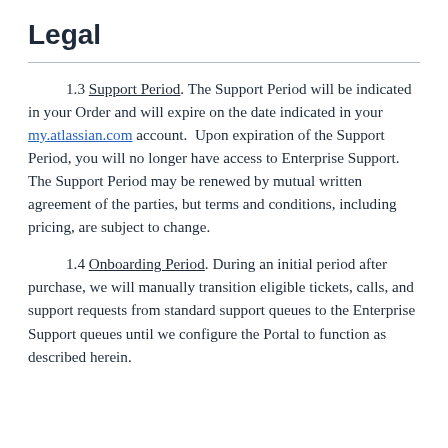Legal
1.3 Support Period. The Support Period will be indicated in your Order and will expire on the date indicated in your my.atlassian.com account.  Upon expiration of the Support Period, you will no longer have access to Enterprise Support.  The Support Period may be renewed by mutual written agreement of the parties, but terms and conditions, including pricing, are subject to change.
1.4 Onboarding Period. During an initial period after purchase, we will manually transition eligible tickets, calls, and support requests from standard support queues to the Enterprise Support queues until we configure the Portal to function as described herein.